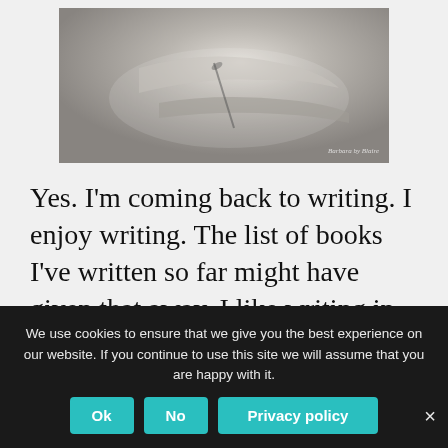[Figure (photo): Black and white photo of a person writing, viewed from above, showing a hand holding a pen on paper]
Yes. I'm coming back to writing. I enjoy writing. The list of books I've written so far might have given that away. I like writing in the nude most of all because that allows for uninhibited writing. I am convinced that other naked writers agree with me. It might not surprise you that more writers like (or liked, because some of them aren't among us any more) to be
We use cookies to ensure that we give you the best experience on our website. If you continue to use this site we will assume that you are happy with it.